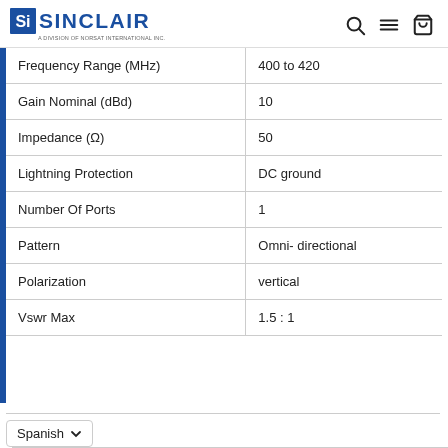Sinclair — A Division of Norsat International Inc. [logo + nav icons]
| Property | Value |
| --- | --- |
| Frequency Range (MHz) | 400 to 420 |
| Gain Nominal (dBd) | 10 |
| Impedance (Ω) | 50 |
| Lightning Protection | DC ground |
| Number Of Ports | 1 |
| Pattern | Omni- directional |
| Polarization | vertical |
| Vswr Max | 1.5 : 1 |
Spanish ∨
| Property | Value |
| --- | --- |
| Actual Shipping Weight (lbs) | 75 |